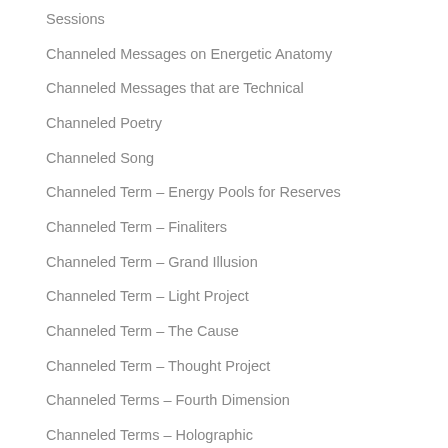Sessions
Channeled Messages on Energetic Anatomy
Channeled Messages that are Technical
Channeled Poetry
Channeled Song
Channeled Term – Energy Pools for Reserves
Channeled Term – Finaliters
Channeled Term – Grand Illusion
Channeled Term – Light Project
Channeled Term – The Cause
Channeled Term – Thought Project
Channeled Terms – Fourth Dimension
Channeled Terms – Holographic